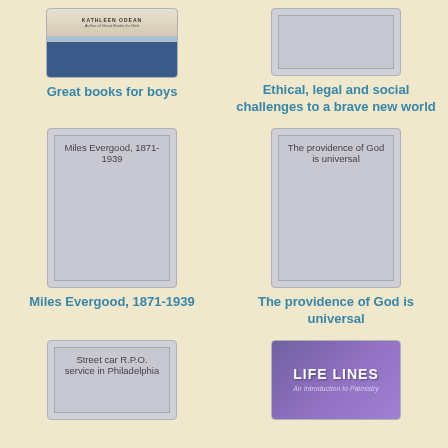[Figure (photo): Book cover for Great books for boys by Kathleen Odean]
Great books for boys
[Figure (illustration): Placeholder book cover for Ethical, legal and social challenges to a brave new world]
Ethical, legal and social challenges to a brave new world
[Figure (illustration): Placeholder book cover for Miles Evergood, 1871-1939]
Miles Evergood, 1871-1939
[Figure (illustration): Placeholder book cover for The providence of God is universal]
The providence of God is universal
[Figure (illustration): Placeholder book cover for Street car R.P.O. service in Philadelphia]
[Figure (photo): Book cover for Life Lines: An Introduction to Palmistry]